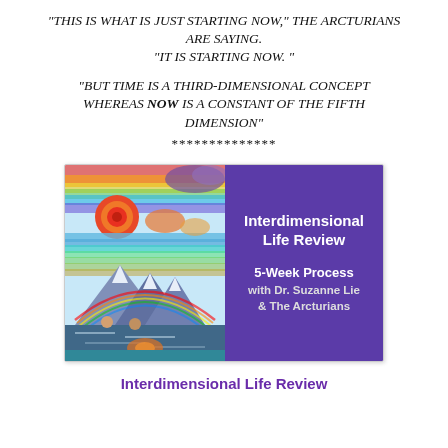“THIS IS WHAT IS JUST STARTING NOW,” THE ARCTURIANS ARE SAYING. “IT IS STARTING NOW.”
“BUT TIME IS A THIRD-DIMENSIONAL CONCEPT WHEREAS NOW IS A CONSTANT OF THE FIFTH DIMENSION”
**************
[Figure (illustration): Book cover for 'Interdimensional Life Review 5-Week Process with Dr. Suzanne Lie & The Arcturians'. Left half shows colorful painted landscape with mountains, sun, rainbow, and figures. Right half is purple with white text.]
Interdimensional Life Review